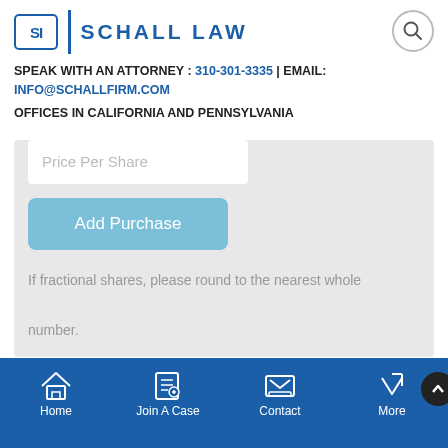[Figure (logo): Schall Law firm logo with SI initials in a box and SCHALL LAW text]
SPEAK WITH AN ATTORNEY : 310-301-3335 | EMAIL: INFO@SCHALLFIRM.COM
OFFICES IN CALIFORNIA AND PENNSYLVANIA
[Figure (screenshot): Form input field labeled Price Per Share with an Add Purchase button below it, on a light gray background]
If fractional shares, please round to the nearest whole number.
Home | Join A Case | Contact | More